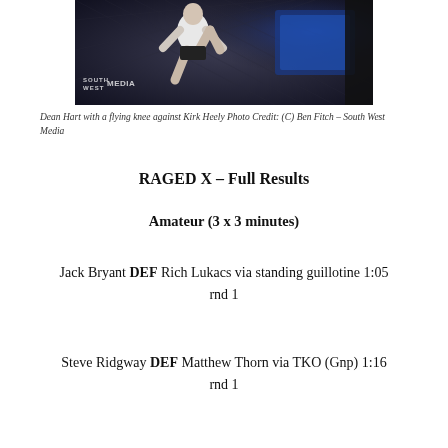[Figure (photo): MMA fighter performing a flying knee strike inside a cage, with South West Media watermark visible in lower left corner]
Dean Hart with a flying knee against Kirk Heely Photo Credit: (C) Ben Fitch – South West Media
RAGED X – Full Results
Amateur (3 x 3 minutes)
Jack Bryant DEF Rich Lukacs via standing guillotine 1:05 rnd 1
Steve Ridgway DEF Matthew Thorn via TKO (Gnp) 1:16 rnd 1